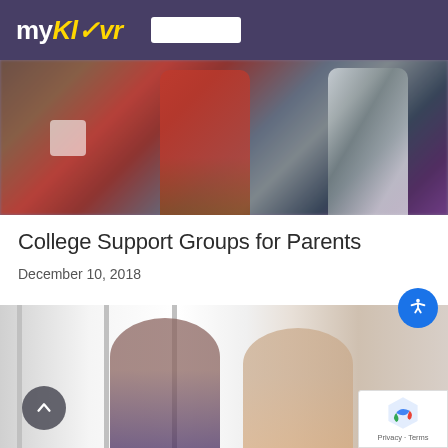myKlōvr
[Figure (photo): Hero banner photo showing people sitting around a cafe table; a person in a red top and one in a striped shirt are visible along with coffee cups on the table.]
College Support Groups for Parents
December 10, 2018
[Figure (photo): Two women sitting and talking, each holding a drink, in a bright room with large windows behind them.]